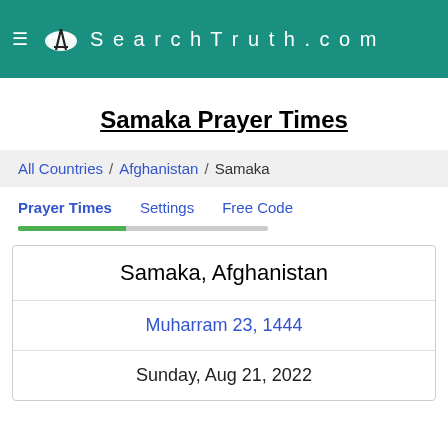SearchTruth.com
Samaka Prayer Times
All Countries / Afghanistan / Samaka
Prayer Times   Settings   Free Code
Samaka, Afghanistan
Muharram 23, 1444
Sunday, Aug 21, 2022